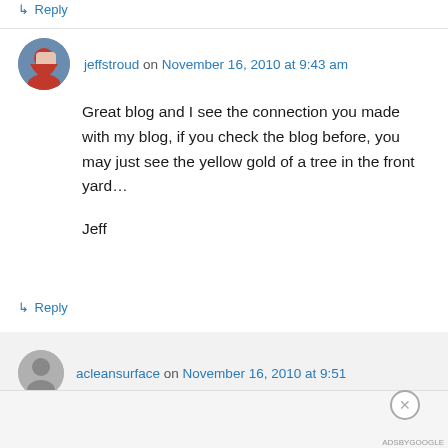↳ Reply
jeffstroud on November 16, 2010 at 9:43 am
Great blog and I see the connection you made with my blog, if you check the blog before, you may just see the yellow gold of a tree in the front yard…

Jeff
↳ Reply
acleansurface on November 16, 2010 at 9:51
Advertisements
[Figure (other): DuckDuckGo advertisement banner: Search, browse, and email with more privacy. All in One Free App. Orange and black background with DuckDuckGo duck logo.]